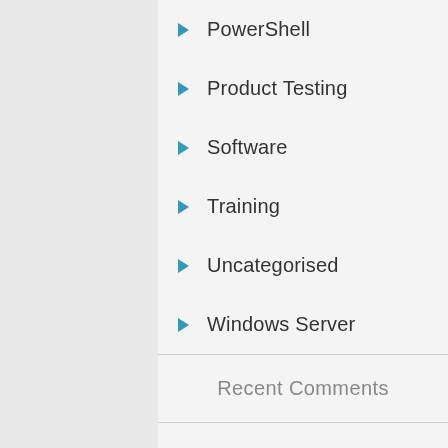PowerShell
Product Testing
Software
Training
Uncategorised
Windows Server
Recent Comments
Onix on Office 365: What happens when you disable